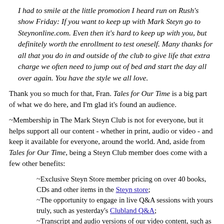I had to smile at the little promotion I heard run on Rush's show Friday: If you want to keep up with Mark Steyn go to Steynonline.com. Even then it's hard to keep up with you, but definitely worth the enrollment to test oneself. Many thanks for all that you do in and outside of the club to give life that extra charge we often need to jump out of bed and start the day all over again. You have the style we all love.
Thank you so much for that, Fran. Tales for Our Time is a big part of what we do here, and I'm glad it's found an audience.
~Membership in The Mark Steyn Club is not for everyone, but it helps support all our content - whether in print, audio or video - and keep it available for everyone, around the world. And, aside from Tales for Our Time, being a Steyn Club member does come with a few other benefits:
~Exclusive Steyn Store member pricing on over 40 books, CDs and other items in the Steyn store;
~The opportunity to engage in live Q&A sessions with yours truly, such as yesterday's Clubland Q&A;
~Transcript and audio versions of our video content, such as SteynPosts and The Mark Steyn Show;